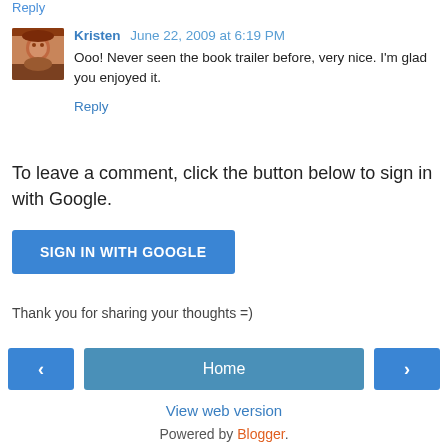Reply
Kristen June 22, 2009 at 6:19 PM
Ooo! Never seen the book trailer before, very nice. I'm glad you enjoyed it.
Reply
To leave a comment, click the button below to sign in with Google.
SIGN IN WITH GOOGLE
Thank you for sharing your thoughts =)
< Home >
View web version
Powered by Blogger.